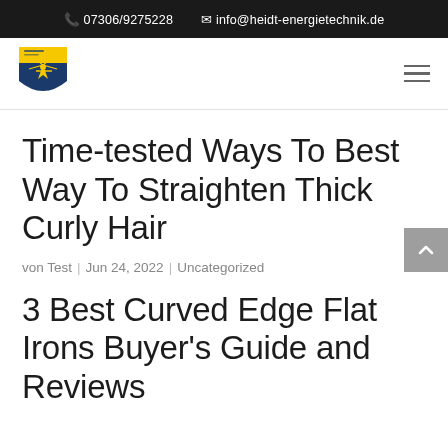07306/9275228  info@heidt-energietechnik.de
[Figure (logo): Heidt Energietechnik company logo — shield shape with yellow and blue colors, stylized plant/lightning graphic]
Time-tested Ways To Best Way To Straighten Thick Curly Hair
von Test | Jun 24, 2022 | Uncategorized
3 Best Curved Edge Flat Irons Buyer's Guide and Reviews